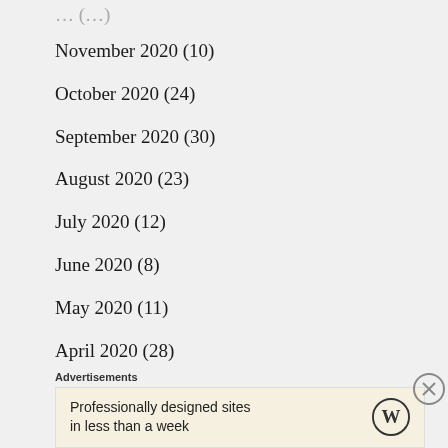November 2020 (10)
October 2020 (24)
September 2020 (30)
August 2020 (23)
July 2020 (12)
June 2020 (8)
May 2020 (11)
April 2020 (28)
March 2020 (11)
February 2020 (19)
Advertisements
Professionally designed sites in less than a week